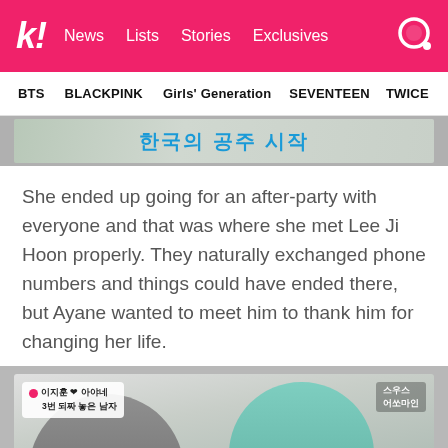k! News Lists Stories Exclusives
BTS BLACKPINK Girls' Generation SEVENTEEN TWICE
[Figure (screenshot): Partial screenshot showing Korean text banner]
She ended up going for an after-party with everyone and that was where she met Lee Ji Hoon properly. They naturally exchanged phone numbers and things could have ended there, but Ayane wanted to meet him to thank him for changing her life.
[Figure (screenshot): TV show screenshot showing a woman and a man in a teal shirt sitting side by side, with Korean text overlay badge reading '3번 되짜 놓은 남자']